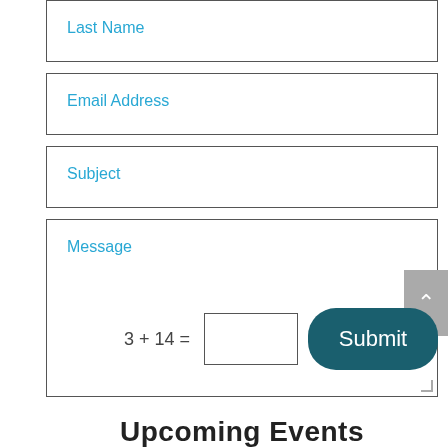Last Name
Email Address
Subject
Message
3 + 14 =
Submit
Upcoming Events